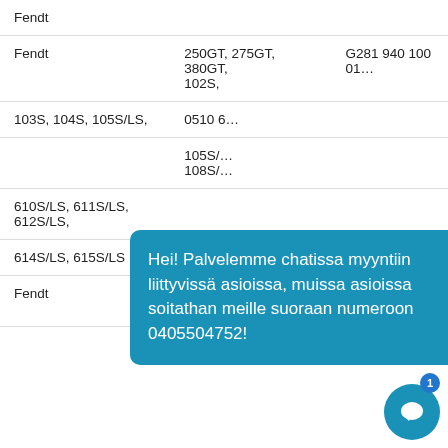| Fendt |  |  |
| Fendt | 250GT, 275GT, 380GT, 102S, | G281 940 100 01… |
| 103S, 104S, 105S/LS, | 0510 6… |  |
|  | 105S/…
108S/… |  |
| 610S/LS, 611S/LS, 612S/LS, |  |  |
| 614S/LS, 615S/LS |  |  |
| Fendt | 200S, 200V, 203V, 203P | G144 9…01… |
Hei! Palvelemme chatissa myyntiin liittyvissä asioissa, muissa asioissa soitathan meille suoraan numeroon 0405504752!